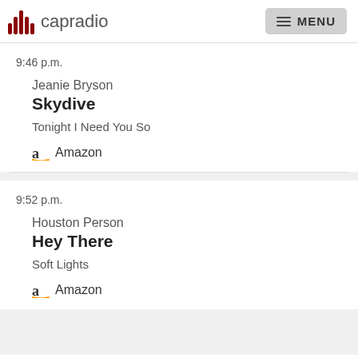capradio MENU
9:46 p.m.
Jeanie Bryson
Skydive
Tonight I Need You So
Amazon
9:52 p.m.
Houston Person
Hey There
Soft Lights
Amazon